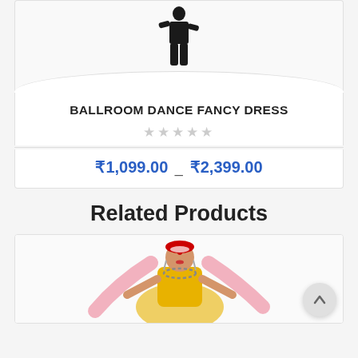[Figure (photo): Ballroom dance fancy dress costume on a figure — dark trousers visible at top]
BALLROOM DANCE FANCY DRESS
★★★★★ (empty stars rating)
₹1,099.00 – ₹2,399.00
Related Products
[Figure (photo): Woman dressed in yellow Indian traditional costume with pink dupatta and jewelry]